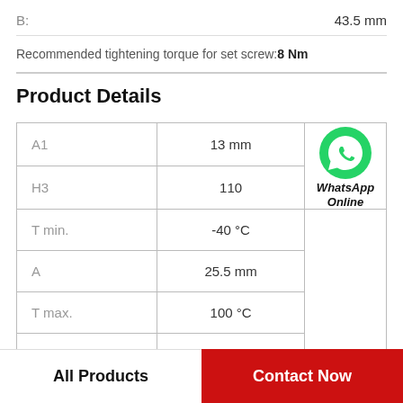B:    43.5 mm
Recommended tightening torque for set screw: 8 Nm
Product Details
| Property | Value |
| --- | --- |
| A1 | 13 mm |
| H3 | 110 |
| T min. | -40 °C |
| A | 25.5 mm |
| T max. | 100 °C |
[Figure (logo): WhatsApp green phone icon with 'WhatsApp Online' text label]
All Products
Contact Now